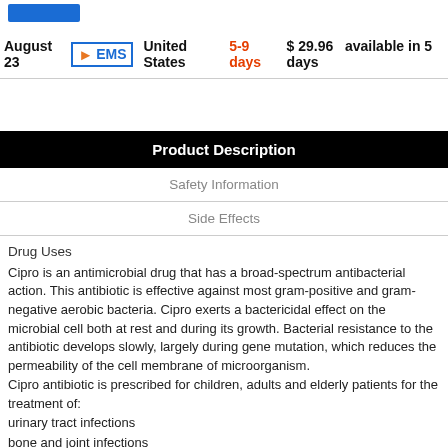[Figure (other): Blue button (partially visible at top)]
August 23  EMS  United States  5-9 days  $ 29.96  available in 5 days
Product Description
Safety Information
Side Effects
Drug Uses
Cipro is an antimicrobial drug that has a broad-spectrum antibacterial action. This antibiotic is effective against most gram-positive and gram-negative aerobic bacteria. Cipro exerts a bactericidal effect on the microbial cell both at rest and during its growth. Bacterial resistance to the antibiotic develops slowly, largely during gene mutation, which reduces the permeability of the cell membrane of microorganism. Cipro antibiotic is prescribed for children, adults and elderly patients for the treatment of:
urinary tract infections
bone and joint infections
intra-abdominal infections
genital infections
upper respiratory tract infections
lower respiratory tract infections
skin and skin structure infections